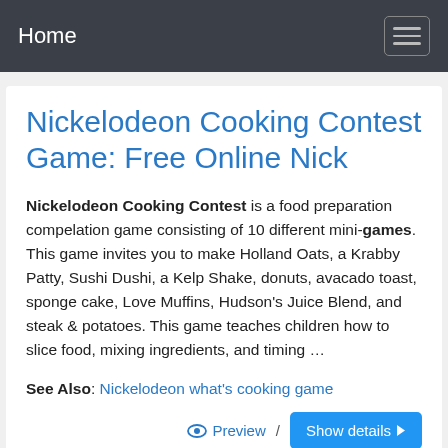Home
Nickelodeon Cooking Contest Game: Free Online Nick
Nickelodeon Cooking Contest is a food preparation compelation game consisting of 10 different mini-games. This game invites you to make Holland Oats, a Krabby Patty, Sushi Dushi, a Kelp Shake, donuts, avacado toast, sponge cake, Love Muffins, Hudson's Juice Blend, and steak & potatoes. This game teaches children how to slice food, mixing ingredients, and timing …
See Also: Nickelodeon what's cooking game